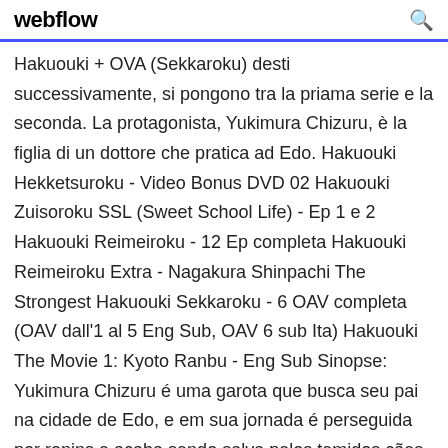webflow
Hakuouki + OVA (Sekkaroku) desti successivamente, si pongono tra la priama serie e la seconda. La protagonista, Yukimura Chizuru, è la figlia di un dottore che pratica ad Edo. Hakuouki Hekketsuroku - Video Bonus DVD 02 Hakuouki Zuisoroku SSL (Sweet School Life) - Ep 1 e 2 Hakuouki Reimeiroku - 12 Ep completa Hakuouki Reimeiroku Extra - Nagakura Shinpachi The Strongest Hakuouki Sekkaroku - 6 OAV completa (OAV dall'1 al 5 Eng Sub, OAV 6 sub Ita) Hakuouki The Movie 1: Kyoto Ranbu - Eng Sub Sinopse: Yukimura Chizuru é uma garota que busca seu pai na cidade de Edo, e em sua jornada é perseguida por ronins e acaba sendo salva pelos temidos cães de Mibu,